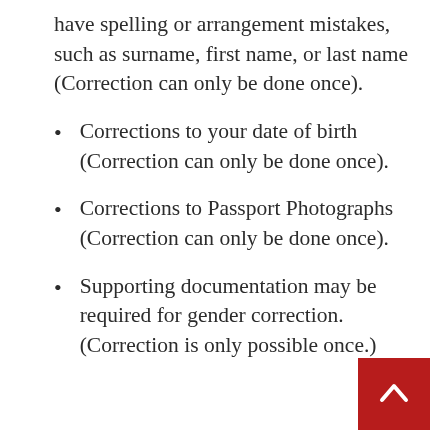have spelling or arrangement mistakes, such as surname, first name, or last name (Correction can only be done once).
Corrections to your date of birth (Correction can only be done once).
Corrections to Passport Photographs (Correction can only be done once).
Supporting documentation may be required for gender correction. (Correction is only possible once.)